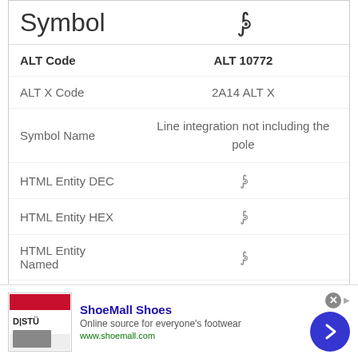| Symbol |  |
| --- | --- |
| ALT Code | ALT 10772 |
| ALT X Code | 2A14 ALT X |
| Symbol Name | Line integration not including the pole |
| HTML Entity DEC | &#10772; |
| HTML Entity HEX | &#x2A14; |
| HTML Entity Named | &#10772; |
| Unicode Code Point | U+2A14 |
| Symbol |  |
| --- | --- |